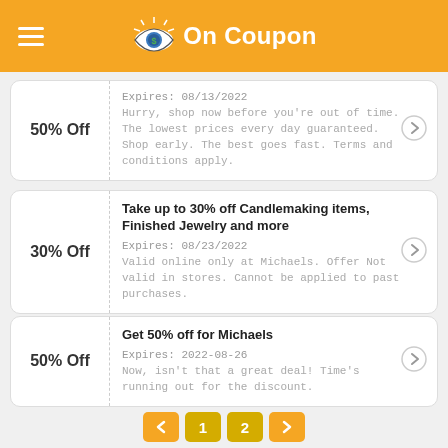On Coupon
50% Off — Expires: 08/13/2022 — Hurry, shop now before you're out of time. The lowest prices every day guaranteed. Shop early. The best goes fast. Terms and conditions apply.
30% Off — Take up to 30% off Candlemaking items, Finished Jewelry and more — Expires: 08/23/2022 — Valid online only at Michaels. Offer Not valid in stores. Cannot be applied to past purchases.
50% Off — Get 50% off for Michaels — Expires: 2022-08-26 — Now, isn't that a great deal! Time's running out for the discount.